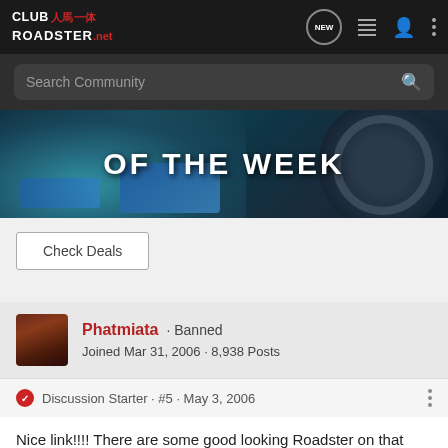CLUB ROADSTER.net
[Figure (screenshot): Website banner showing 'OF THE WEEK' text over a dark automotive close-up image]
Check Deals
Phatmiata · Banned
Joined Mar 31, 2006 · 8,938 Posts
Discussion Starter · #5 · May 3, 2006
Nice link!!!! There are some good looking Roadster on that site.